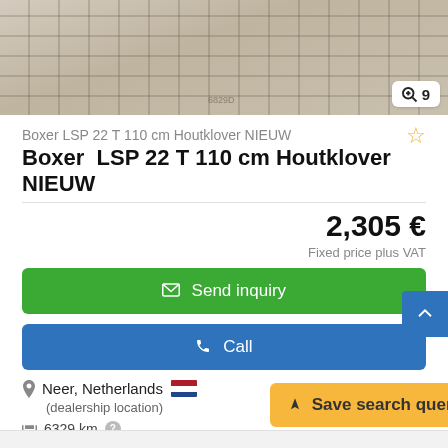[Figure (photo): Stone or concrete paving texture photo with magnifier icon and image count badge showing 9]
Boxer LSP 22 T 110 cm Houtklover NIEUW
Boxer  LSP 22 T 110 cm Houtklover NIEUW
2,305 €
Fixed price plus VAT
✉ Send inquiry
✆ Call
Neer, Netherlands (dealership location)
6329 km
new
➤ Save search query